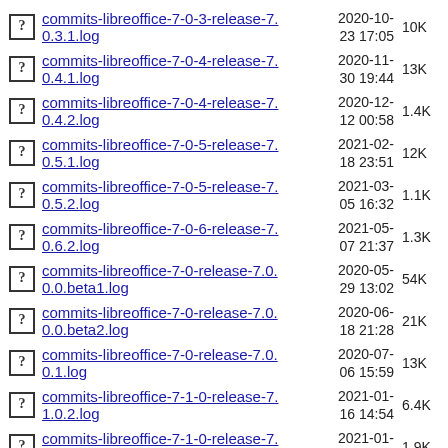commits-libreoffice-7-0-3-release-7.0.3.1.log  2020-10-23 17:05  10K
commits-libreoffice-7-0-4-release-7.0.4.1.log  2020-11-30 19:44  13K
commits-libreoffice-7-0-4-release-7.0.4.2.log  2020-12-12 00:58  1.4K
commits-libreoffice-7-0-5-release-7.0.5.1.log  2021-02-18 23:51  12K
commits-libreoffice-7-0-5-release-7.0.5.2.log  2021-03-05 16:32  1.1K
commits-libreoffice-7-0-6-release-7.0.6.2.log  2021-05-07 21:37  1.3K
commits-libreoffice-7-0-release-7.0.0.0.beta1.log  2020-05-29 13:02  54K
commits-libreoffice-7-0-release-7.0.0.0.beta2.log  2020-06-18 21:28  21K
commits-libreoffice-7-0-release-7.0.0.1.log  2020-07-06 15:59  13K
commits-libreoffice-7-1-0-release-7.1.0.2.log  2021-01-16 14:54  6.4K
commits-libreoffice-7-1-0-release-7.1.0.3.log  2021-01-29 15:59  1.9K